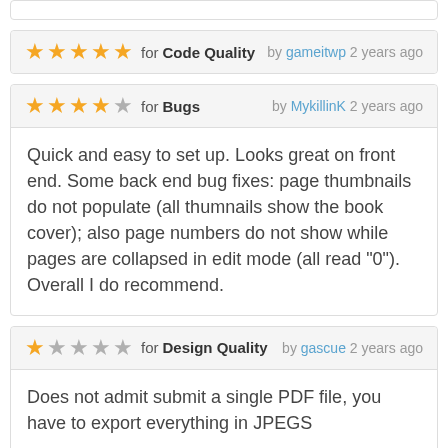★★★★★ for Code Quality by gameitwp 2 years ago
★★★★☆ for Bugs by MykillinK 2 years ago — Quick and easy to set up. Looks great on front end. Some back end bug fixes: page thumbnails do not populate (all thumnails show the book cover); also page numbers do not show while pages are collapsed in edit mode (all read "0"). Overall I do recommend.
★☆☆☆★ for Design Quality by gascue 2 years ago — Does not admit submit a single PDF file, you have to export everything in JPEGS